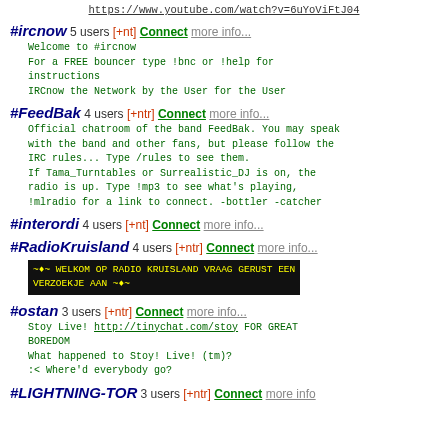https://www.youtube.com/watch?v=6uYoViFtJ04
#ircnow 5 users [+nt] Connect more info...
Welcome to #ircnow
For a FREE bouncer type !bnc or !help for instructions
IRCnow the Network by the User for the User
#FeedBak 4 users [+ntr] Connect more info...
Official chatroom of the band FeedBak. You may speak with the band and other fans, but please follow the IRC rules... Type /rules to see them.
If Tama_Turntables or Surrealistic_DJ is on, the radio is up. Type !mp3 to see what's playing, !mlradio for a link to connect. -bottler -catcher
#interordi 4 users [+nt] Connect more info...
#RadioKruisland 4 users [+ntr] Connect more info...
~♦~ WELKOM OP RADIO KRUISLAND VRAAG GERUST EEN VERZOEKJE AAN ~♦~
#ostan 3 users [+ntr] Connect more info...
Stoy Live! http://tinychat.com/stoy FOR GREAT BOREDOM
What happened to Stoy! Live! (tm)?
:< Where'd everybody go?
#LIGHTNING-TOR 3 users [+ntr] Connect more info